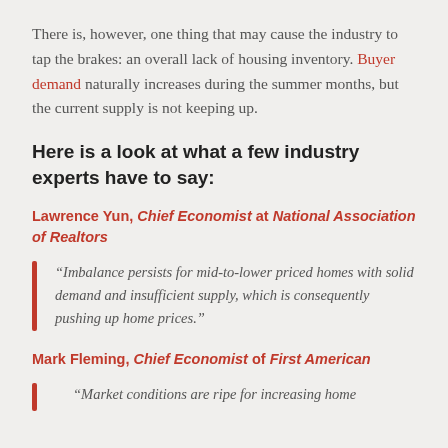There is, however, one thing that may cause the industry to tap the brakes: an overall lack of housing inventory. Buyer demand naturally increases during the summer months, but the current supply is not keeping up.
Here is a look at what a few industry experts have to say:
Lawrence Yun, Chief Economist at National Association of Realtors
“Imbalance persists for mid-to-lower priced homes with solid demand and insufficient supply, which is consequently pushing up home prices.”
Mark Fleming, Chief Economist of First American
“Market conditions are ripe for increasing home